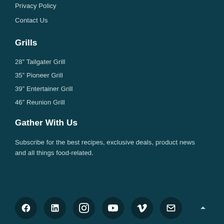Privacy Policy
Contact Us
Grills
28” Tailgater Grill
35” Pioneer Grill
39” Entertainer Grill
46” Reunion Grill
Gather With Us
Subscribe for the best recipes, exclusive deals, product news and all things food-related.
[Figure (infographic): Row of circular social media icon buttons: Facebook, LinkedIn, Instagram, YouTube, Vimeo, Email/envelope. Dark background circles with white icons.]